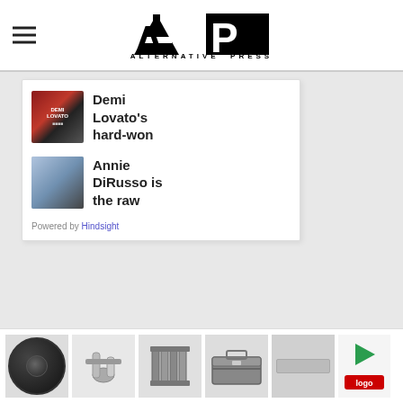AP Alternative Press
[Figure (screenshot): Sidebar card with two article teasers: 'Demi Lovato's hard-won' and 'Annie DiRusso is the raw', each with a thumbnail image. Powered by Hindsight link at bottom.]
[Figure (screenshot): Bottom advertisement strip showing product images including a steering wheel knob, exhaust parts, intake pipes, toolbox, and a play button with logo.]